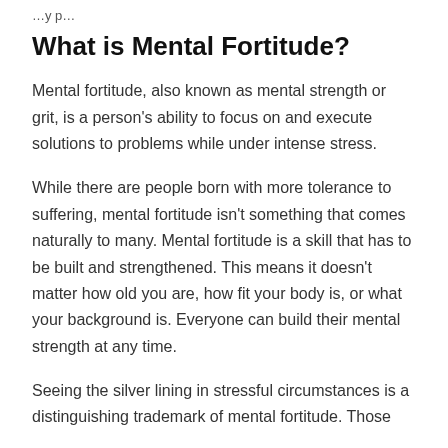…y p…
What is Mental Fortitude?
Mental fortitude, also known as mental strength or grit, is a person's ability to focus on and execute solutions to problems while under intense stress.
While there are people born with more tolerance to suffering, mental fortitude isn't something that comes naturally to many. Mental fortitude is a skill that has to be built and strengthened. This means it doesn't matter how old you are, how fit your body is, or what your background is. Everyone can build their mental strength at any time.
Seeing the silver lining in stressful circumstances is a distinguishing trademark of mental fortitude. Those